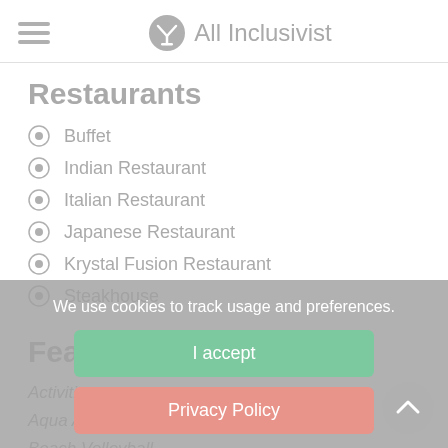All Inclusivist
Restaurants
Buffet
Indian Restaurant
Italian Restaurant
Japanese Restaurant
Krystal Fusion Restaurant
Steakhouse
Features
Activities
Aqua Aerobics
Beach Volleyball
Golf nearby
We use cookies to track usage and preferences.
I accept
Privacy Policy